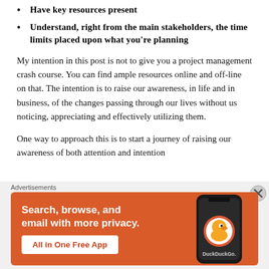Have key resources present
Understand, right from the main stakeholders, the time limits placed upon what you're planning
My intention in this post is not to give you a project management crash course. You can find ample resources online and off-line on that. The intention is to raise our awareness, in life and in business, of the changes passing through our lives without us noticing, appreciating and effectively utilizing them.
One way to approach this is to start a journey of raising our awareness of both attention and intention
[Figure (screenshot): DuckDuckGo advertisement banner with orange background. Text reads: Search, browse, and email with more privacy. All in One Free App. Shows a smartphone with the DuckDuckGo duck logo.]